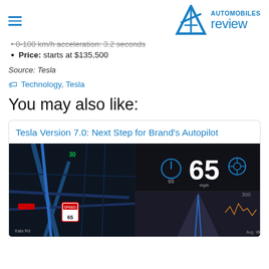Automobiles Review
0-100 km/h acceleration: 3.2 seconds (truncated/strikethrough)
Price: starts at $135,500
Source: Tesla
Technology, Tesla
You may also like:
Tesla Version 7.0: Next Step for Brand's Autopilot
[Figure (screenshot): Tesla Autopilot dashboard display showing navigation map on left, speed gauge showing 65 mph in center, steering wheel icon on right, and winding road view at bottom]